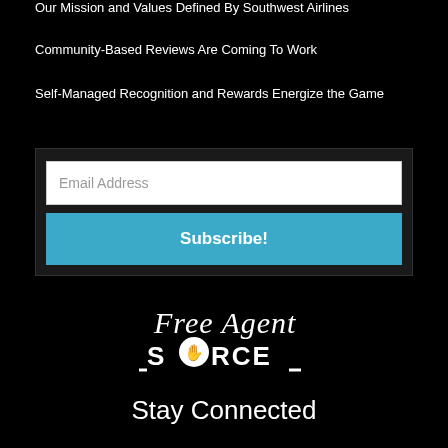Our Mission and Values Defined By Southwest Airlines
Community-Based Reviews Are Coming To Work
Self-Managed Recognition and Rewards Energize the Game
Email Address
Subscribe!
[Figure (logo): Free Agent Source logo — script text 'Free Agent' above stylized 'SOURCE' with a hand icon replacing the letter O, all in white on black background]
Stay Connected